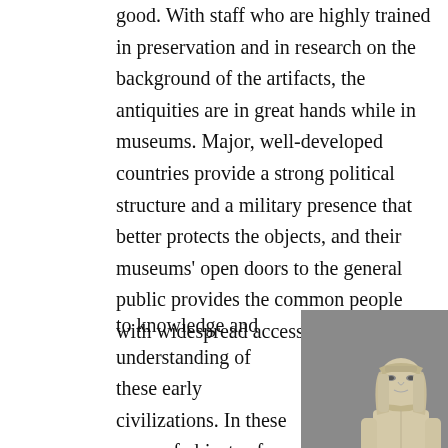good. With staff who are highly trained in preservation and in research on the background of the artifacts, the antiquities are in great hands while in museums. Major, well-developed countries provide a strong political structure and a military presence that better protects the objects, and their museums' open doors to the general public provides the common people with widespread access
to knowledge and understanding of these early civilizations. In these cases of objects of such antiquity, the fact
[Figure (photo): A stone or alabaster Egyptian statue of a seated figure wearing a headdress (nemes), shown from the front against a gray background.]